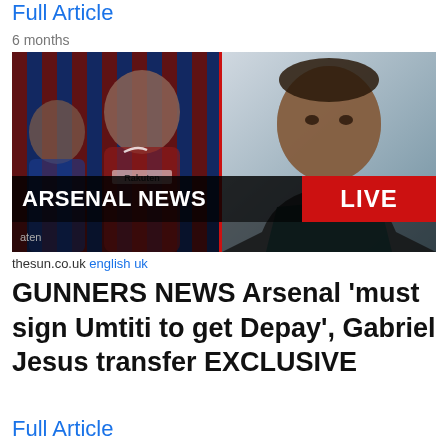Full Article
6 months
[Figure (photo): Composite news thumbnail showing a Barcelona player in red-blue striped kit on the left and an Arsenal player on the right, with 'ARSENAL NEWS LIVE' banner overlay]
thesun.co.uk english uk
GUNNERS NEWS Arsenal 'must sign Umtiti to get Depay', Gabriel Jesus transfer EXCLUSIVE
Full Article